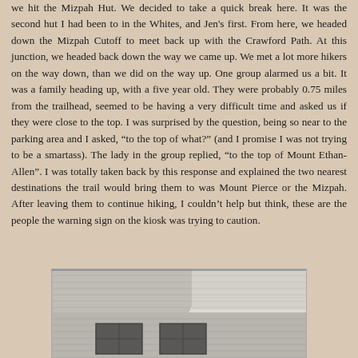we hit the Mizpah Hut. We decided to take a quick break here. It was the second hut I had been to in the Whites, and Jen's first. From here, we headed down the Mizpah Cutoff to meet back up with the Crawford Path. At this junction, we headed back down the way we came up. We met a lot more hikers on the way down, than we did on the way up. One group alarmed us a bit. It was a family heading up, with a five year old. They were probably 0.75 miles from the trailhead, seemed to be having a very difficult time and asked us if they were close to the top. I was surprised by the question, being so near to the parking area and I asked, “to the top of what?” (and I promise I was not trying to be a smartass). The lady in the group replied, “to the top of Mount Ethan-Allen”. I was totally taken back by this response and explained the two nearest destinations the trail would bring them to was Mount Pierce or the Mizpah. After leaving them to continue hiking, I couldn’t help but think, these are the people the warning sign on the kiosk was trying to caution.
[Figure (photo): Photograph of the exterior of a stone/wooden mountain hut building, showing the roof and windows]